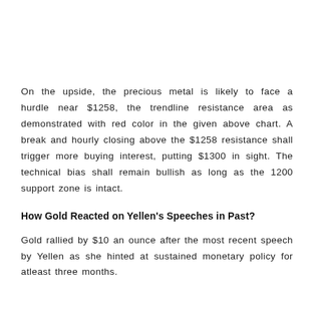On the upside, the precious metal is likely to face a hurdle near $1258, the trendline resistance area as demonstrated with red color in the given above chart. A break and hourly closing above the $1258 resistance shall trigger more buying interest, putting $1300 in sight. The technical bias shall remain bullish as long as the 1200 support zone is intact.
How Gold Reacted on Yellen's Speeches in Past?
Gold rallied by $10 an ounce after the most recent speech by Yellen as she hinted at sustained monetary policy for atleast three months.